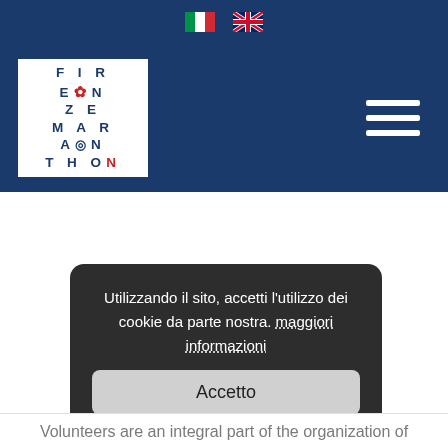[Figure (logo): Language selector bar with Italian flag and UK flag icons]
[Figure (logo): Firenze Marathon logo in white-bordered box and hamburger menu on dark blue navigation bar]
Utilizzando il sito, accetti l'utilizzo dei cookie da parte nostra. maggiori informazioni
Accetto
Volunteers are an integral part of the organization of